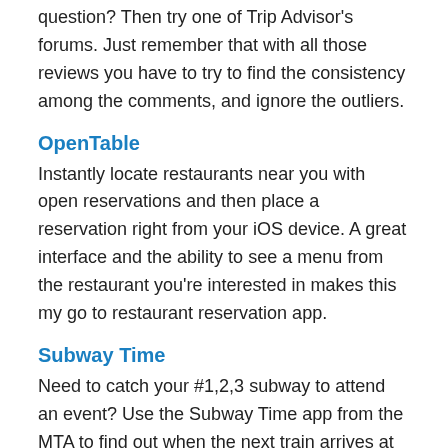question? Then try one of Trip Advisor's forums. Just remember that with all those reviews you have to try to find the consistency among the comments, and ignore the outliers.
OpenTable
Instantly locate restaurants near you with open reservations and then place a reservation right from your iOS device. A great interface and the ability to see a menu from the restaurant you're interested in makes this my go to restaurant reservation app.
Subway Time
Need to catch your #1,2,3 subway to attend an event? Use the Subway Time app from the MTA to find out when the next train arrives at your station. The MTA also has Train and Bus Time info available on their mobile website